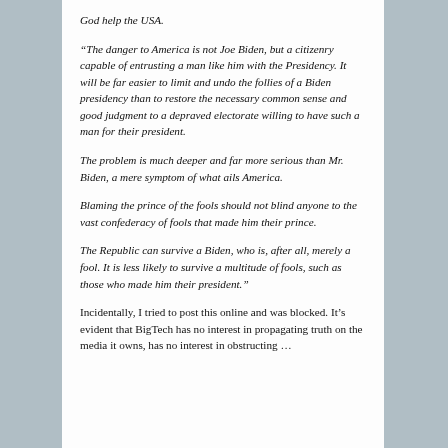God help the USA.
“The danger to America is not Joe Biden, but a citizenry capable of entrusting a man like him with the Presidency. It will be far easier to limit and undo the follies of a Biden presidency than to restore the necessary common sense and good judgment to a depraved electorate willing to have such a man for their president.
The problem is much deeper and far more serious than Mr. Biden, a mere symptom of what ails America.
Blaming the prince of the fools should not blind anyone to the vast confederacy of fools that made him their prince.
The Republic can survive a Biden, who is, after all, merely a fool. It is less likely to survive a multitude of fools, such as those who made him their president.”
Incidentally, I tried to post this online and was blocked. It’s evident that BigTech has no interest in propagating truth on the media it owns, has no interest in obstructing …